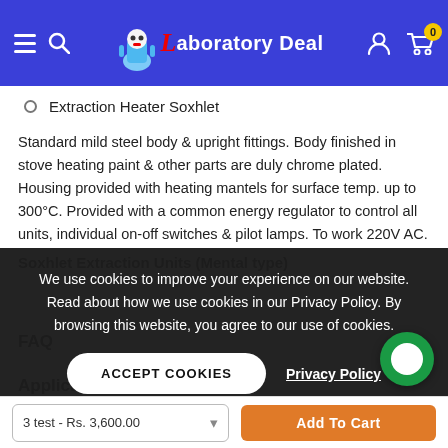Laboratory Deal — Navigation bar with hamburger menu, search, logo, user icon, cart (0)
Extraction Heater Soxhlet
Standard mild steel body & upright fittings. Body finished in stove heating paint & other parts are duly chrome plated. Housing provided with heating mantels for surface temp. up to 300°C. Provided with a common energy regulator to control all units, individual on-off switches & pilot lamps. To work 220V AC.
Soxhlet Extraction Units (Mental type)
We use cookies to improve your experience on our website. Read about how we use cookies in our Privacy Policy. By browsing this website, you agree to our use of cookies.
ACCEPT COOKIES   Privacy Policy
FAQ
Applications
3 test - Rs. 3,600.00   Add To Cart